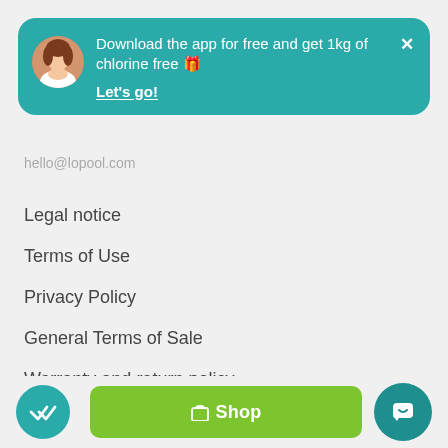[Figure (screenshot): Teal notification banner with avatar photo of a woman, text 'Download the app for free and get 1kg of chlorine free 🎁', underlined bold 'Let's go!' CTA, and × close button]
hello@lopool.com
Legal notice
Terms of Use
Privacy Policy
General Terms of Sale
Warranty and return policy
[Figure (screenshot): Bottom navigation bar with teal checkmark circle button, green Shop button, and teal chat/support circle button]